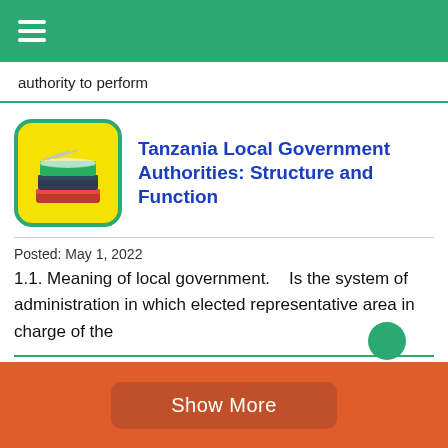≡
authority to perform
Tanzania Local Government Authorities: Structure and Function
Posted: May 1, 2022
1.1. Meaning of local government.    Is the system of administration in which elected representative area in charge of the
Show More